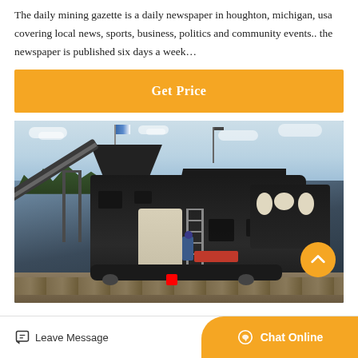The daily mining gazette is a daily newspaper in houghton, michigan, usa covering local news, sports, business, politics and community events.. the newspaper is published six days a week…
Get Price
[Figure (photo): A large mobile crushing plant (mining/aggregate equipment) with conveyor belts, a jaw crusher, vibrating screen, and ladder. A worker stands near the machine. Background shows trees, sky with clouds, and a flag pole. Rock/aggregate material is visible in the foreground.]
Leave Message
Chat Online